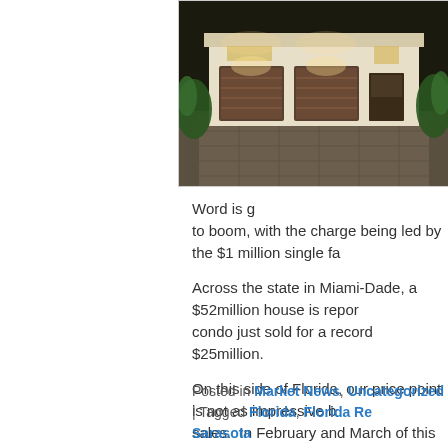[Figure (photo): Nighttime exterior photo of a luxury house with illuminated garage doors, paved driveway, and tropical landscaping]
Word is g to boom, with the charge being led by the $1 million single fa
Across the state in Miami-Dade, a $52million house is repor condo just sold for a record $25million.
On this side of Florida, our price point is not as impressive b sales.  In February and March of this year, sales of $1million 48% higher than last year.
For more information on luxury homes in Sarasota call Bev Murray Realty
Posted in Market News, Uncategorized | Tagged Florida, Florida Re Sarasota